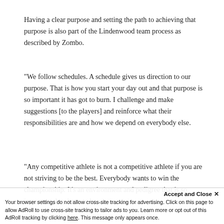Having a clear purpose and setting the path to achieving that purpose is also part of the Lindenwood team process as described by Zombo.
“We follow schedules. A schedule gives us direction to our purpose. That is how you start your day out and that purpose is so important it has got to burn. I challenge and make suggestions [to the players] and reinforce what their responsibilities are and how we depend on everybody else.
“Any competitive athlete is not a competitive athlete if you are not striving to be the best. Everybody wants to win the championship. It’s an environment and pedigree that is so important they have to be challenged
Accept and Close ×
Your browser settings do not allow cross-site tracking for advertising. Click on this page to allow AdRoll to use cross-site tracking to tailor ads to you. Learn more or opt out of this AdRoll tracking by clicking here. This message only appears once.